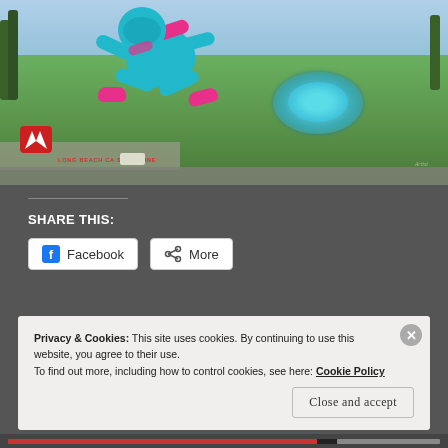[Figure (photo): Digital art composite showing a large cartoon character (blue and pink, wearing pink sneakers) flying/running above Long Beach CA Shoreline area. Below is an aerial view of a roundabout with a circular fountain/garden. Adobe Creative Cloud logo visible in lower left. Watermark text reads 'LONG BEACH CA SHORELINE'.]
SHARE THIS:
Facebook
More
Loading...
Privacy & Cookies: This site uses cookies. By continuing to use this website, you agree to their use.
To find out more, including how to control cookies, see here: Cookie Policy
Close and accept